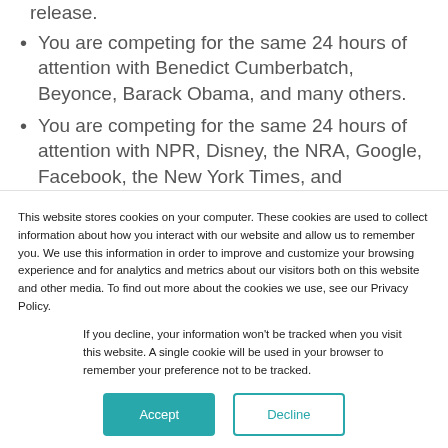You are competing for the same 24 hours of attention with Benedict Cumberbatch, Beyonce, Barack Obama, and many others.
You are competing for the same 24 hours of attention with NPR, Disney, the NRA, Google, Facebook, the New York Times, and Starbucks.
This website stores cookies on your computer. These cookies are used to collect information about how you interact with our website and allow us to remember you. We use this information in order to improve and customize your browsing experience and for analytics and metrics about our visitors both on this website and other media. To find out more about the cookies we use, see our Privacy Policy.
If you decline, your information won’t be tracked when you visit this website. A single cookie will be used in your browser to remember your preference not to be tracked.